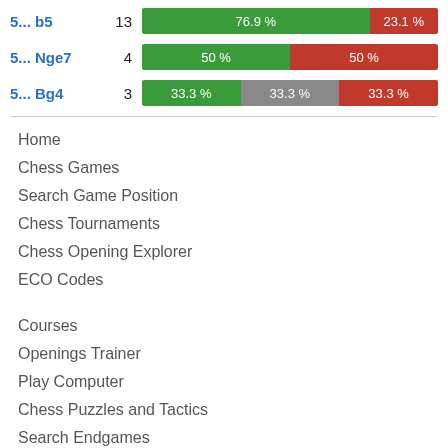[Figure (stacked-bar-chart): Chess moves win percentage]
Home
Chess Games
Search Game Position
Chess Tournaments
Chess Opening Explorer
ECO Codes
Courses
Openings Trainer
Play Computer
Chess Puzzles and Tactics
Search Endgames